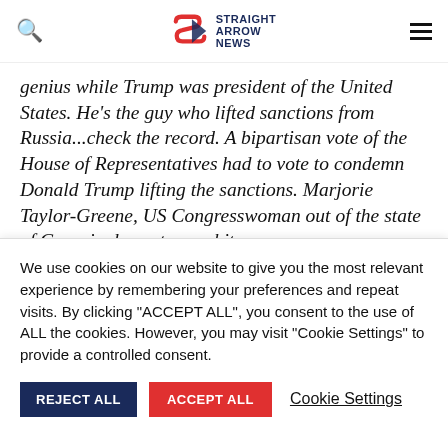Straight Arrow News
genius while Trump was president of the United States. He's the guy who lifted sanctions from Russia...check the record. A bipartisan vote of the House of Representatives had to vote to condemn Donald Trump lifting the sanctions. Marjorie Taylor-Greene, US Congresswoman out of the state of Georgia, keynotes a white
We use cookies on our website to give you the most relevant experience by remembering your preferences and repeat visits. By clicking "ACCEPT ALL", you consent to the use of ALL the cookies. However, you may visit "Cookie Settings" to provide a controlled consent.